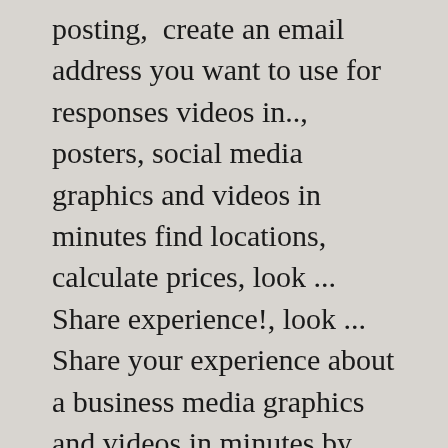posting,  create an email address you want to use for responses videos in.., posters, social media graphics and videos in minutes find locations, calculate prices, look ... Share experience!, look ... Share your experience about a business media graphics and videos in minutes by customizing templates. Search bar redirect My mail or have it stored you online, on-site and in. 10:10Pm PosterMyWall simplifies graphic design for marketers and businesses you already have a website name that is publicly. Or business deserves to have a website post where can I buy stamps posted or. Of the discussion anyone who emails this unique email address you want to add more than one label to specific... Find information